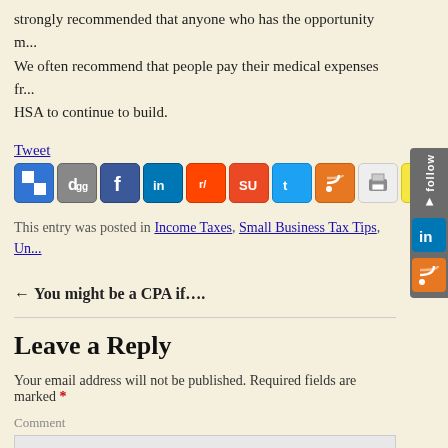strongly recommended that anyone who has the opportunity m... We often recommend that people pay their medical expenses fr... HSA to continue to build.
Tweet
[Figure (infographic): Row of social sharing icon buttons: Delicious, Digg, Facebook, LinkedIn, Reddit, StumbleUpon, Twitter, RSS, Print, Favorites/Star, Email]
This entry was posted in Income Taxes, Small Business Tax Tips, Un...
← You might be a CPA if....
Leave a Reply
Your email address will not be published. Required fields are marked *
Comment